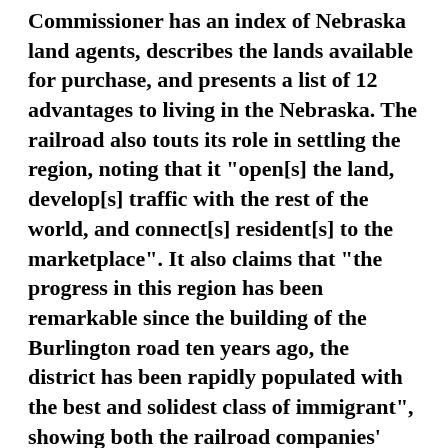Commissioner has an index of Nebraska land agents, describes the lands available for purchase, and presents a list of 12 advantages to living in the Nebraska. The railroad also touts its role in settling the region, noting that it "open[s] the land, develop[s] traffic with the rest of the world, and connect[s] resident[s] to the marketplace". It also claims that "the progress in this region has been remarkable since the building of the Burlington road ten years ago, the district has been rapidly populated with the best and solidest class of immigrant", showing both the railroad companies' targeting of immigrants as land buyers and their perception of their role in settling the Plains.